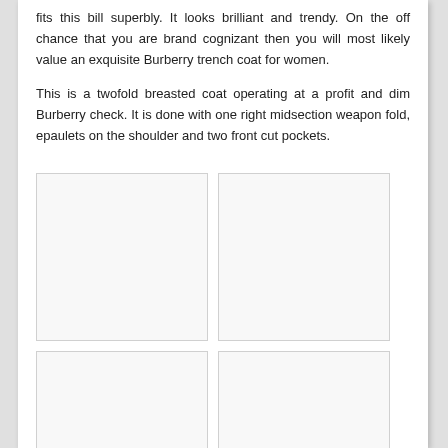fits this bill superbly. It looks brilliant and trendy. On the off chance that you are brand cognizant then you will most likely value an exquisite Burberry trench coat for women.
This is a twofold breasted coat operating at a profit and dim Burberry check. It is done with one right midsection weapon fold, epaulets on the shoulder and two front cut pockets.
[Figure (photo): Placeholder image box 1 (top-left)]
[Figure (photo): Placeholder image box 2 (top-right)]
[Figure (photo): Placeholder image box 3 (bottom-left)]
[Figure (photo): Placeholder image box 4 (bottom-right)]